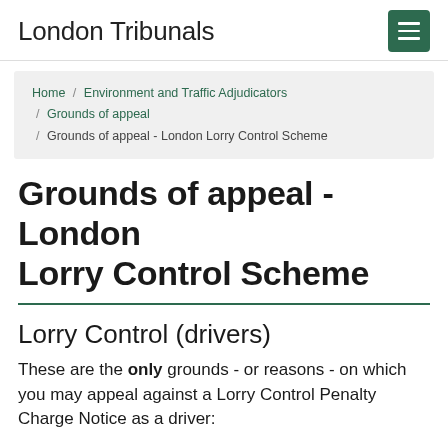London Tribunals
Home / Environment and Traffic Adjudicators / Grounds of appeal / Grounds of appeal - London Lorry Control Scheme
Grounds of appeal - London Lorry Control Scheme
Lorry Control (drivers)
These are the only grounds - or reasons - on which you may appeal against a Lorry Control Penalty Charge Notice as a driver: